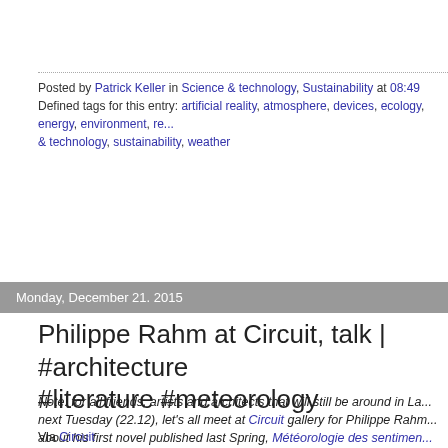Posted by Patrick Keller in Science & technology, Sustainability at 08:49
Defined tags for this entry: artificial reality, atmosphere, devices, ecology, energy, environment, re... & technology, sustainability, weather
Monday, December 21. 2015
Philippe Rahm at Circuit, talk | #architecture #literature #meteorology
Note: for all friends, artists and architects that will still be around in La... next Tuesday (22.12), let's all meet at Circuit gallery for Philippe Rahm... about his first novel published last Spring, Météorologie des sentimen... book is a pilgrimage through many past memories, in a non linear way... the combined angles of feelings and meteorology (as the title of the bo... it...)

The novel is indeed closely related to Philippe's practice and teaching... architect, with which we share many interests!
Via Circuit